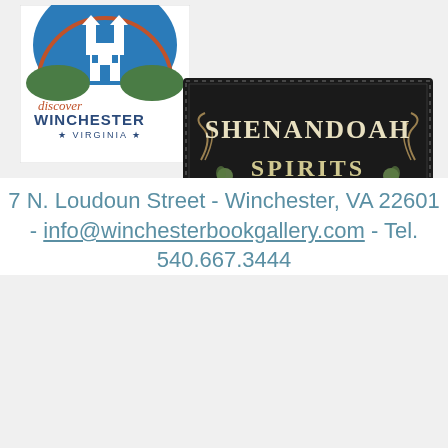[Figure (logo): Discover Winchester Virginia logo with blue arch, white church building silhouette, green mountains, and cursive/bold text]
[Figure (logo): Shenandoah Spirits Trail logo on black background with decorative lettering and hop/fruit imagery]
7 N. Loudoun Street - Winchester, VA 22601 - info@winchesterbookgallery.com - Tel. 540.667.3444